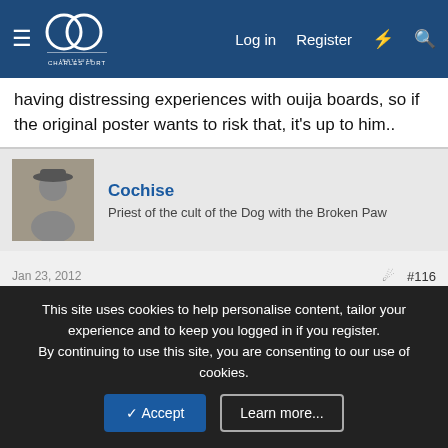Charles Fort Institute — Log in | Register
having distressing experiences with ouija boards, so if the original poster wants to risk that, it's up to him..
Cochise
Priest of the cult of the Dog with the Broken Paw
Jan 23, 2012  #116
Since the purpose of Oujia boards is to contact spirits, we are not talking scientific rationality in the first place.
Last edited by a moderator: Dec 21, 2018
Heckler
The unspeakable mass
This site uses cookies to help personalise content, tailor your experience and to keep you logged in if you register.
By continuing to use this site, you are consenting to our use of cookies.